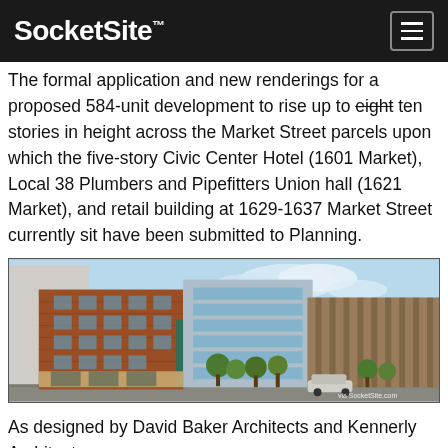SocketSite™
The formal application and new renderings for a proposed 584-unit development to rise up to [strikethrough: eight] ten stories in height across the Market Street parcels upon which the five-story Civic Center Hotel (1601 Market), Local 38 Plumbers and Pipefitters Union hall (1621 Market), and retail building at 1629-1637 Market Street currently sit have been submitted to Planning.
[Figure (illustration): Architectural rendering of a proposed mixed-use development on Market Street, showing a multi-story brick and glass building complex with retail at street level and residential units above, surrounded by trees. Watermark: via SocketSite.com]
As designed by David Baker Architects and Kennerly Architecture